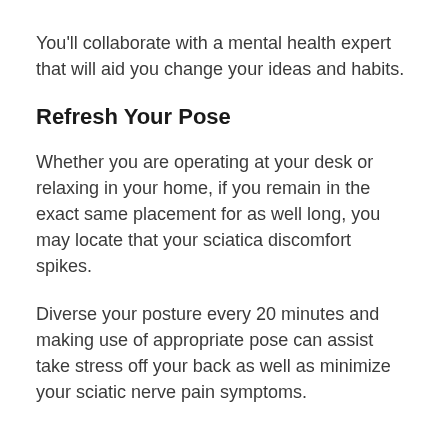You'll collaborate with a mental health expert that will aid you change your ideas and habits.
Refresh Your Pose
Whether you are operating at your desk or relaxing in your home, if you remain in the exact same placement for as well long, you may locate that your sciatica discomfort spikes.
Diverse your posture every 20 minutes and making use of appropriate pose can assist take stress off your back as well as minimize your sciatic nerve pain symptoms.